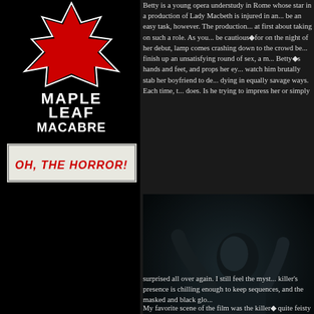[Figure (logo): Maple Leaf Macabre logo with red Canadian maple leaf graphic and white text on black background]
[Figure (logo): Oh, The Horror! banner text in red stylized font on white/grey background]
Betty is a young opera understudy in Rome whose star in a production of Lady Macbeth is injured in an... be an easy task, however. The production... at first about taking on such a role. As you... be cautious for on the night of her debut,... lamp comes crashing down to the crowd be... finish up an unsatisfying round of sex, a m... Betty's hands and feet, and props her ey... watch him brutally stab her boyfriend to de... dying in equally savage ways. Each time, t... does. Is he trying to impress her or simply
[Figure (photo): Dark horror movie still showing a figure in dramatic pose, dark blue-grey tones]
surprised all over again. I still feel the myst... killer's presence is chilling enough to keep sequences, and the masked and black glo...
My favorite scene of the film was the killer... quite feisty and isn't about to go down with... Argento's killer such a tough time. This is c... seamstress (involving a piece of swallowe... both cringing and grinning from ear to ear.... notably famous scene involves the killer sh... a close up of the bullet traveling in slow...